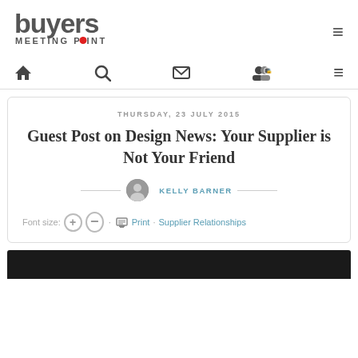[Figure (logo): Buyers Meeting Point logo with red dot in 'POINT']
THURSDAY, 23 JULY 2015
Guest Post on Design News: Your Supplier is Not Your Friend
KELLY BARNER
Font size: + - · Print · Supplier Relationships